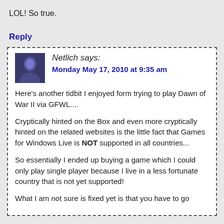LOL! So true.
Reply
Netlich says:
Monday May 17, 2010 at 9:35 am
Here's another tidbit I enjoyed form trying to play Dawn of War II via GFWL....
Cryptically hinted on the Box and even more cryptically hinted on the related websites is the little fact that Games for Windows Live is NOT supported in all countries...
So essentially I ended up buying a game which I could only play single player because I live in a less fortunate country that is not yet supported!
What I am not sure is fixed yet is that you have to go